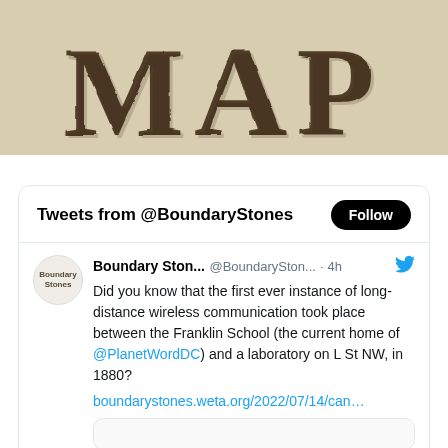[Figure (illustration): Large stylized text reading 'MAP' in a distressed Western/vintage font on a tan/beige background. The letters are dark brown with texture and shadow effects.]
Tweets from @BoundaryStones
Follow
Boundary Ston... @BoundarySton... · 4h
Did you know that the first ever instance of long-distance wireless communication took place between the Franklin School (the current home of @PlanetWordDC) and a laboratory on L St NW, in 1880?
boundarystones.weta.org/2022/07/14/can…